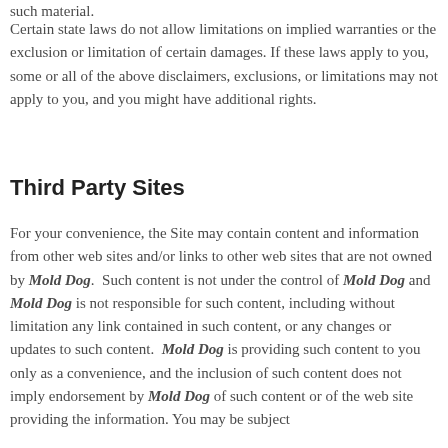such material.
Certain state laws do not allow limitations on implied warranties or the exclusion or limitation of certain damages. If these laws apply to you, some or all of the above disclaimers, exclusions, or limitations may not apply to you, and you might have additional rights.
Third Party Sites
For your convenience, the Site may contain content and information from other web sites and/or links to other web sites that are not owned by Mold Dog. Such content is not under the control of Mold Dog and Mold Dog is not responsible for such content, including without limitation any link contained in such content, or any changes or updates to such content. Mold Dog is providing such content to you only as a convenience, and the inclusion of such content does not imply endorsement by Mold Dog of such content or of the web site providing the information. You may be subject